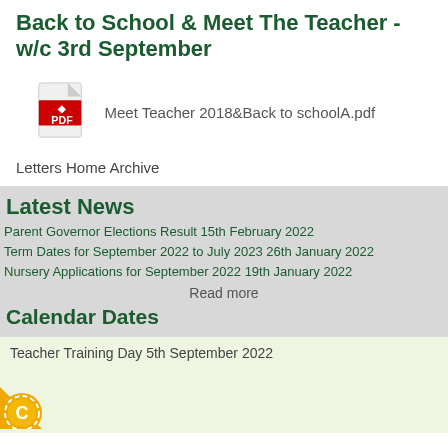Back to School & Meet The Teacher - w/c 3rd September
[Figure (other): PDF icon with red Adobe Acrobat logo and 'PDF' text in red on white/gray document icon]
Meet Teacher 2018&Back to schoolA.pdf
Letters Home Archive
Latest News
Parent Governor Elections Result 15th February 2022
Term Dates for September 2022 to July 2023 26th January 2022
Nursery Applications for September 2022 19th January 2022
Read more
Calendar Dates
Teacher Training Day 5th September 2022
[Figure (logo): Orange/yellow sun badge with letter C in white, positioned bottom-left corner]